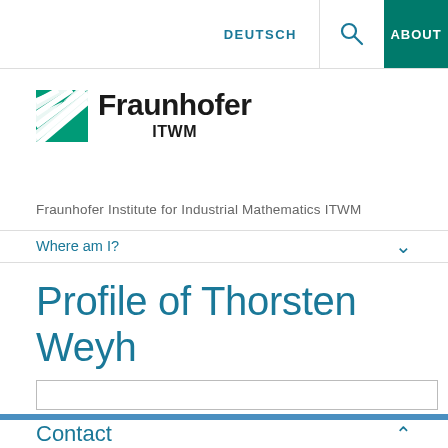DEUTSCH   🔍   ABOUT
[Figure (logo): Fraunhofer ITWM logo with green and white striped square icon followed by 'Fraunhofer' in bold black text and 'ITWM' below]
Fraunhofer Institute for Industrial Mathematics ITWM
Where am I?
Profile of Thorsten Weyh
Contact